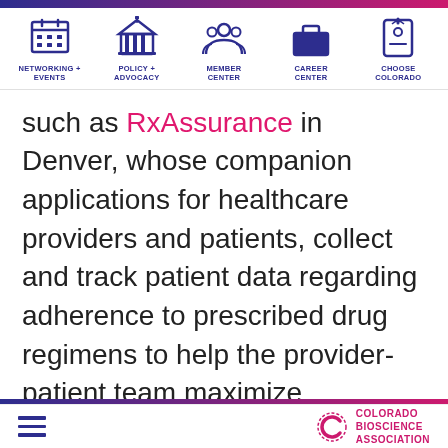Navigation: NETWORKING + EVENTS | POLICY + ADVOCACY | MEMBER CENTER | CAREER CENTER | CHOOSE COLORADO
such as RxAssurance in Denver, whose companion applications for healthcare providers and patients, collect and track patient data regarding adherence to prescribed drug regimens to help the provider-patient team maximize treatment outcomes.
Welltek, also located in Denver, has
Colorado Bioscience Association